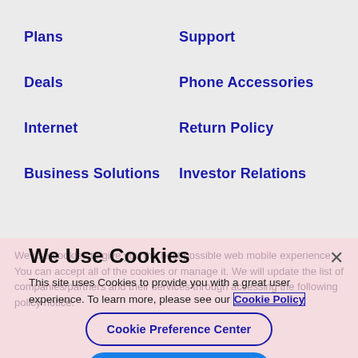Plans
Support
Deals
Phone Accessories
Internet
Return Policy
Business Solutions
Investor Relations
We Use Cookies
This site uses Cookies to provide you with a great user experience. To learn more, please see our Cookie Policy
Cookie Preference Center
Accept All Cookies